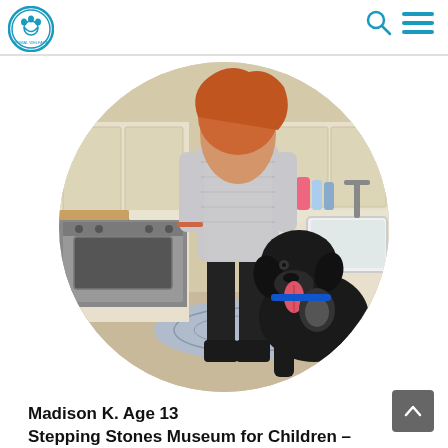Logo and navigation header with search and menu icons
[Figure (photo): A teenage girl in a grey sweater and black pants standing in a kitchen next to a large black dog with its tongue out, sitting on a patterned rug. Kitchen has stainless steel stove, white cabinets, and a farmhouse sink.]
Madison K. Age 13
Stepping Stones Museum for Children – Norwalk, CT